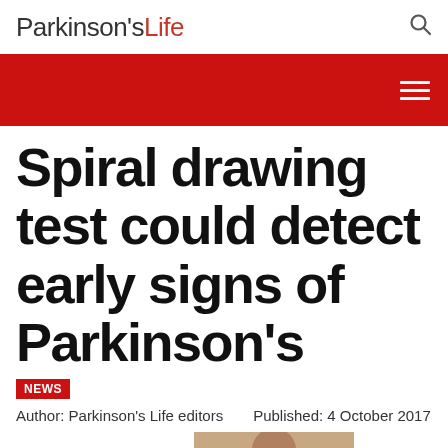Parkinson's Life
Spiral drawing test could detect early signs of Parkinson's
NEWS
Author: Parkinson's Life editors    Published: 4 October 2017
[Figure (photo): Photograph of a person, partially visible, cropped at bottom of page]
Select Language